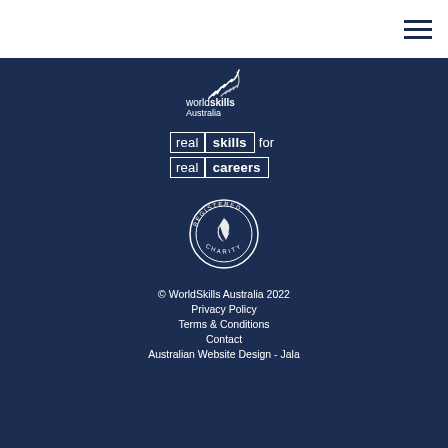[Figure (logo): Hamburger menu icon (three horizontal lines) in top right corner]
[Figure (logo): WorldSkills Australia logo with stylized wing/feather icon and text 'worldskills Australia']
[Figure (logo): Tagline graphic: 'real skills for real careers' in bordered box style]
[Figure (logo): Registered Charity circular badge/seal]
© WorldSkills Australia 2022
Privacy Policy
Terms & Conditions
Contact
Australian Website Design - Jala